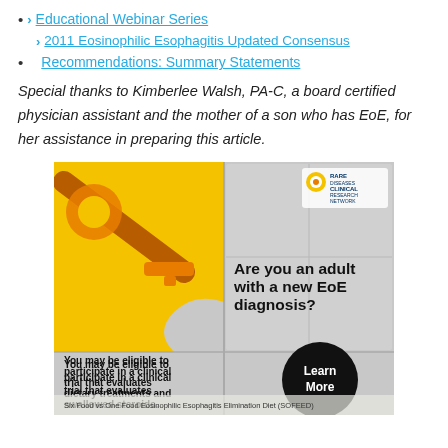Educational Webinar Series
2011 Eosinophilic Esophagitis Updated Consensus Recommendations: Summary Statements
Special thanks to Kimberlee Walsh, PA-C, a board certified physician assistant and the mother of a son who has EoE, for her assistance in preparing this article.
[Figure (photo): Advertisement image for Rare Diseases Clinical Research Network. Shows puzzle pieces (yellow/orange and grey metallic) with a key. Text reads: 'Are you an adult with a new EoE diagnosis? You may be eligible to participate in a clinical trial that evaluates dietary treatments and swallowed steroids. Learn More. Six Food vs One Food Eosinophilic Esophagitis Elimination Diet (SOFEED)']